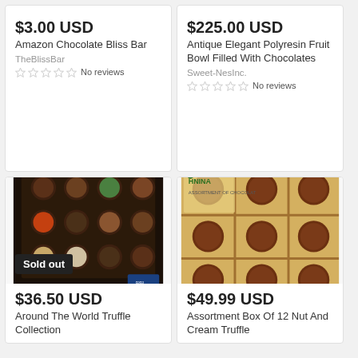$3.00 USD
Amazon Chocolate Bliss Bar
TheBlissBar
No reviews
$225.00 USD
Antique Elegant Polyresin Fruit Bowl Filled With Chocolates
Sweet-NesInc.
No reviews
[Figure (photo): Box of assorted chocolate truffles on dark background with 'Sold out' badge]
$36.50 USD
Around The World Truffle Collection
[Figure (photo): Open box of 12 assorted nut and cream truffles in paper cups, HNINA brand]
$49.99 USD
Assortment Box Of 12 Nut And Cream Truffle